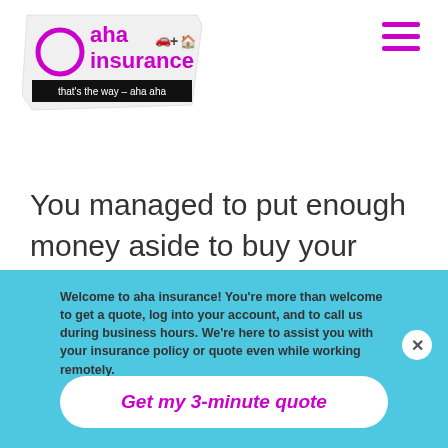[Figure (logo): aha insurance logo with circle, car and house icons, tagline 'that's the way – aha aha']
You managed to put enough money aside to buy your dream home, so this part will be a piece of cake.
Welcome to aha insurance! You're more than welcome to get a quote, log into your account, and to call us during business hours. We're here to assist you with your insurance policy or quote even while working remotely.
Get my 3-minute quote